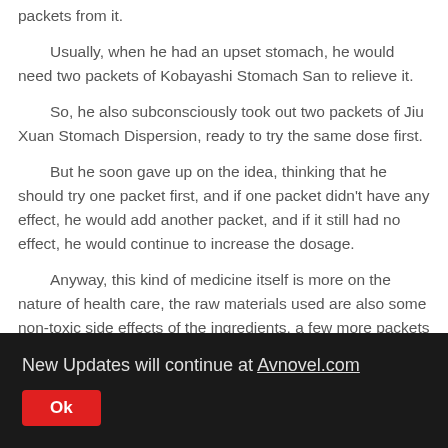packets from it.
Usually, when he had an upset stomach, he would need two packets of Kobayashi Stomach San to relieve it.
So, he also subconsciously took out two packets of Jiu Xuan Stomach Dispersion, ready to try the same dose first.
But he soon gave up on the idea, thinking that he should try one packet first, and if one packet didn't have any effect, he would add another packet, and if it still had no effect, he would continue to increase the dosage.
Anyway, this kind of medicine itself is more on the nature of health care, the raw materials used are also some non-toxic side effects of the ingredients, a few more packets
New Updates will continue at Avnovel.com
Ok